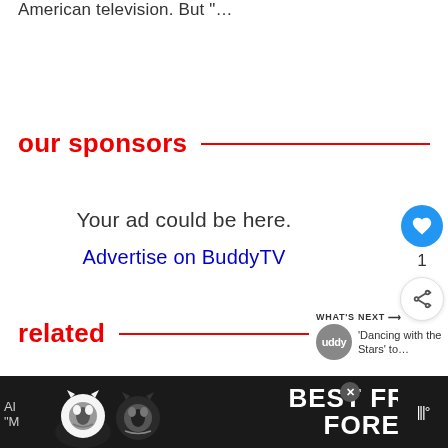American television. But "…
our sponsors
Your ad could be here.
Advertise on BuddyTV
related
WHAT'S NEXT → 'Dancing with the Stars' to…
[Figure (infographic): Bottom banner advertisement showing two cats with text 'BEST FRIENDS FOREVER' with heart symbols, close button, and TV icon on right]
1